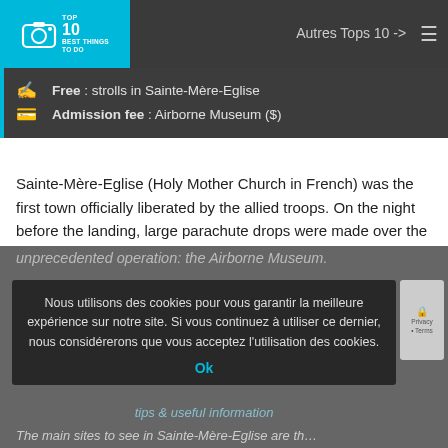TOP 10 | BEST THINGS TO DO | Autres Tops 10 ->
Free : strolls in Sainte-Mère-Eglise
Admission fee : Airborne Museum ($)
Sainte-Mère-Eglise (Holy Mother Church in French) was the first town officially liberated by the allied troops. On the night before the landing, large parachute drops were made over the town and its surroundings. Today, several sites in the town bear witness to this event, including the famous bell tower, where an American parachutist remained suspended all night! A great museum also pays tribute to this unprecedented operation: the Airborne Museum.
Nous utilisons des cookies pour vous garantir la meilleure expérience sur notre site. Si vous continuez à utiliser ce dernier, nous considérerons que vous acceptez l'utilisation des cookies.
Ok
The main sites to see in Sainte-Mère-Eglise are th…